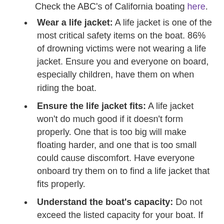Check the ABC's of California boating here.
Wear a life jacket: A life jacket is one of the most critical safety items on the boat. 86% of drowning victims were not wearing a life jacket. Ensure you and everyone on board, especially children, have them on when riding the boat.
Ensure the life jacket fits: A life jacket won't do much good if it doesn't form properly. One that is too big will make floating harder, and one that is too small could cause discomfort. Have everyone onboard try them on to find a life jacket that fits properly.
Understand the boat's capacity: Do not exceed the listed capacity for your boat. If you have too many people on it at once, you risk the boat capsizing or tipping over.